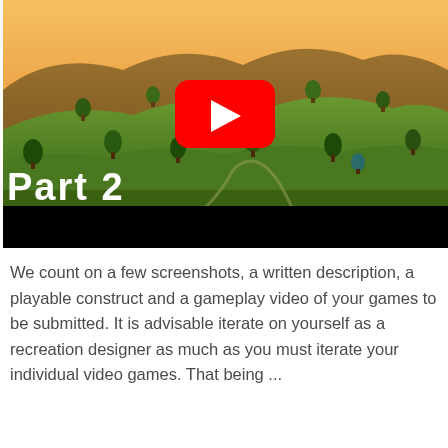[Figure (screenshot): YouTube video thumbnail showing a 3D animated landscape with rolling hills, trees, and a warm sunset sky. Text 'Part 2' is displayed in white bold font at the bottom left. A YouTube play button (red rounded rectangle with white triangle) is centered on the image. A black bar appears at the bottom of the thumbnail.]
We count on a few screenshots, a written description, a playable construct and a gameplay video of your games to be submitted. It is advisable iterate on yourself as a recreation designer as much as you must iterate your individual video games. That being ...